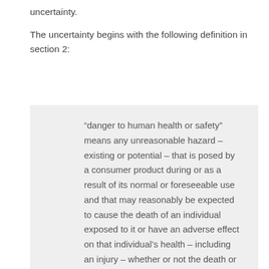uncertainty.
The uncertainty begins with the following definition in section 2:
“danger to human health or safety” means any unreasonable hazard – existing or potential – that is posed by a consumer product during or as a result of its normal or foreseeable use and that may reasonably be expected to cause the death of an individual exposed to it or have an adverse effect on that individual’s health – including an injury – whether or not the death or adverse effect occurs immediately after the exposure to